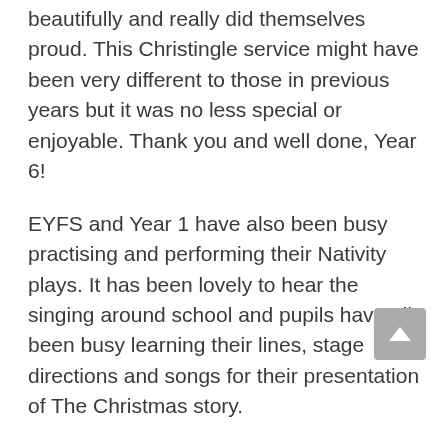beautifully and really did themselves proud. This Christingle service might have been very different to those in previous years but it was no less special or enjoyable. Thank you and well done, Year 6!
EYFS and Year 1 have also been busy practising and performing their Nativity plays. It has been lovely to hear the singing around school and pupils have all been busy learning their lines, stage directions and songs for their presentation of The Christmas story.
We hope to have filmed versions of the performances sent to the parents of pupils in EYFS, Year 1 and Year 6, by Friday.
Pupils across the school have enjoyed a